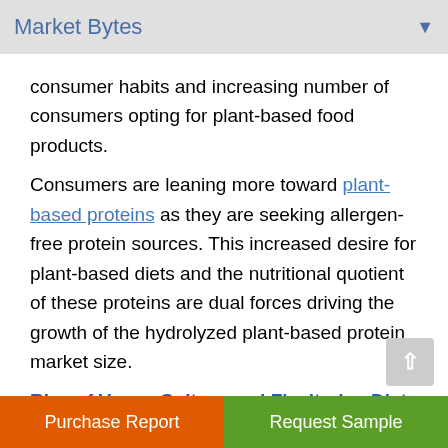Market Bytes
consumer habits and increasing number of consumers opting for plant-based food products.
Consumers are leaning more toward plant-based proteins as they are seeking allergen-free protein sources. This increased desire for plant-based diets and the nutritional quotient of these proteins are dual forces driving the growth of the hydrolyzed plant-based protein market size.
Rise of Vegan Culture and Flexitarian Diet - Key manufacturers in the protein industry are shift
Purchase Report | Request Sample